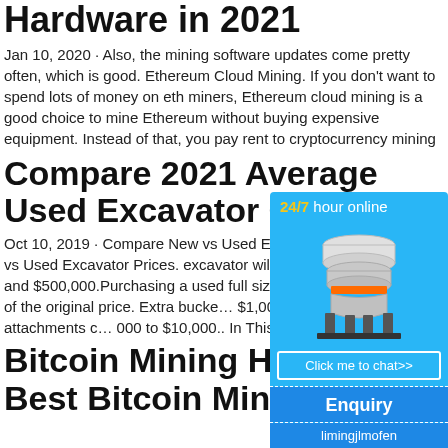Hardware in 2021
Jan 10, 2020 · Also, the mining software updates come pretty often, which is good. Ethereum Cloud Mining. If you don't want to spend lots of money on eth miners, Ethereum cloud mining is a good choice to mine Ethereum without buying expensive equipment. Instead of that, you pay rent to cryptocurrency mining
Compare 2021 Average Used Excavator Costs
Oct 10, 2019 · Compare New vs Used Exca… Summary: New vs Used Excavator Prices. excavator will cost between $100,000 and $500,000.Purchasing a used full sized exca… u about 25% of the original price. Extra bucke… $1,000 and $5,000.Powered attachments c… 000 to $10,000.. In This Article
Bitcoin Mining Hardwar… Best Bitcoin Mining Ha…
[Figure (infographic): Advertisement widget with blue background showing '24/7 hour online' text, industrial machinery (cone crusher) image, 'Click me to chat>>' button, 'Enquiry' section, and 'limingjlmofen' text at bottom.]